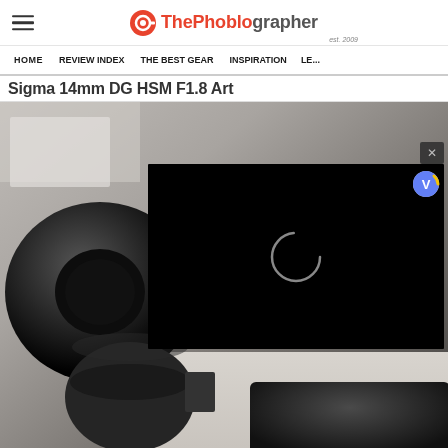ThePhoblographer (est. 2009)
HOME | REVIEW INDEX | THE BEST GEAR | INSPIRATION | LE...
Sigma 14mm DG HSM F1.8 Art
[Figure (photo): Photo of a Sigma 14mm DG HSM F1.8 Art lens mounted on a camera body, placed on a desk. A black video player overlay is displayed on top of the image with a loading spinner and a close (X) button in the top-right corner.]